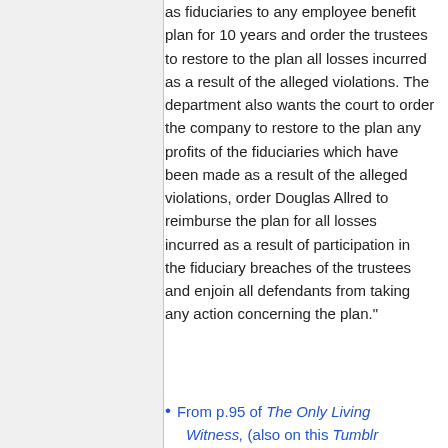as fiduciaries to any employee benefit plan for 10 years and order the trustees to restore to the plan all losses incurred as a result of the alleged violations. The department also wants the court to order the company to restore to the plan any profits of the fiduciaries which have been made as a result of the alleged violations, order Douglas Allred to reimburse the plan for all losses incurred as a result of participation in the fiduciary breaches of the trustees and enjoin all defendants from taking any action concerning the plan."
From p.95 of The Only Living Witness, (also on this Tumblr